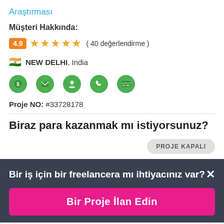Araştırması
Müşteri Hakkında:
4.9 ★★★★☆ ( 40 değerlendirme )
🇮🇳 NEW DELHI, India
[Figure (infographic): Five green verification/contact icons: dollar shield, envelope, person, phone, credit card]
Proje NO: #33728178
Biraz para kazanmak mı istiyorsunuz?
PROJE KAPALI
Bir iş için bir freelancera mı ihtiyacınız var? ×
Bir Proje İlan Edin